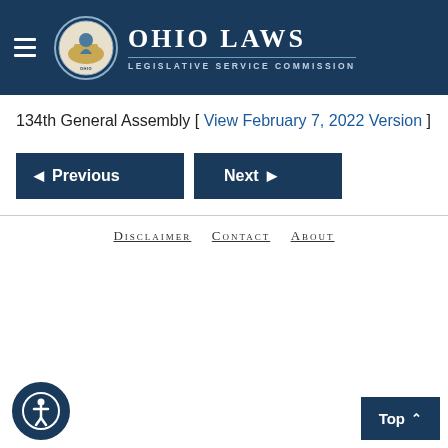Ohio Laws Legislative Service Commission
134th General Assembly [ View February 7, 2022 Version ]
Previous | Next
DISCLAIMER  CONTACT  ABOUT